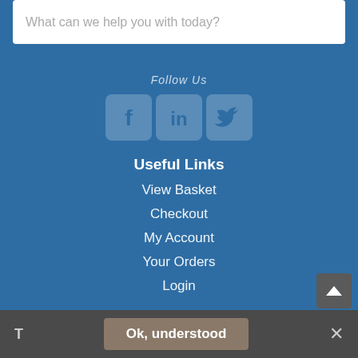What can we help you with today?
Follow Us
[Figure (other): Social media icons: Facebook, LinkedIn, Twitter]
Useful Links
View Basket
Checkout
My Account
Your Orders
Login
Search Tools
Advanced Search
A to Z
All Categories
Ok, understood